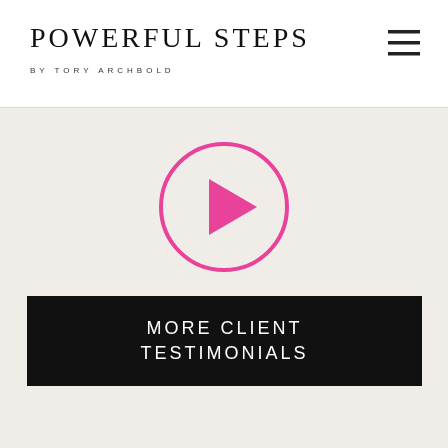POWERFUL STEPS BY TORY ARCHBOLD
[Figure (other): Pink circle play button icon on beige/cream background]
MORE CLIENT TESTIMONIALS